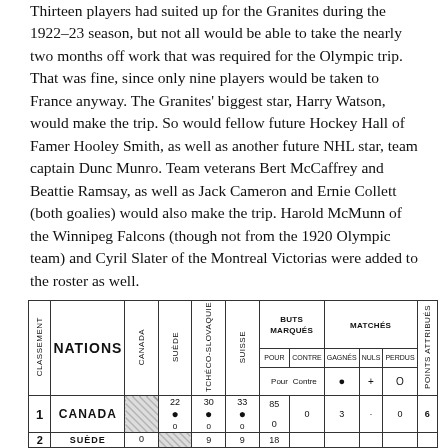Thirteen players had suited up for the Granites during the 1922–23 season, but not all would be able to take the nearly two months off work that was required for the Olympic trip. That was fine, since only nine players would be taken to France anyway. The Granites' biggest star, Harry Watson, would make the trip. So would fellow future Hockey Hall of Famer Hooley Smith, as well as another future NHL star, team captain Dunc Munro. Team veterans Bert McCaffrey and Beattie Ramsay, as well as Jack Cameron and Ernie Collett (both goalies) would also make the trip. Harold McMunn of the Winnipeg Falcons (though not from the 1920 Olympic team) and Cyril Slater of the Montreal Victorias were added to the roster as well.
| CLASSEMENT | NATIONS | CANADA | SUÈDE | TCHÉCO-SLOVAQUIE | SUISSE | BUTS MARQUÉS POUR | BUTS MARQUÉS CONTRE | MATCHÉS GAGNÉS | MATCHÉS NULS | MATCHÉS PERDUS | POINTS ATTRIBUÉS |
| --- | --- | --- | --- | --- | --- | --- | --- | --- | --- | --- | --- |
| 1 | CANADA | (hatch) | 22 • 0 | 30 • 0 | 33 • 0 | 85 | 0 | 3 | · | 0 | 6 |
| 2 | SUÈDE | 0 | (hatch) | 9 | 9 | 18 |  |  |  |  |  |